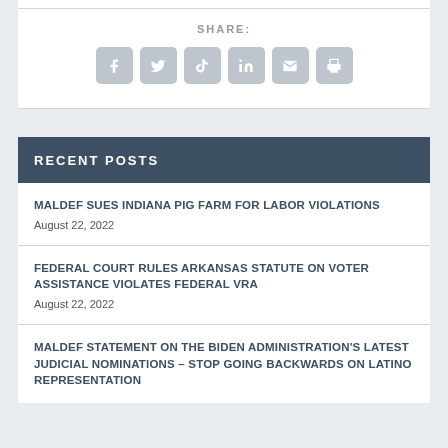SHARE:
[Figure (infographic): Social share icons: Facebook, Twitter, TikTok, LinkedIn, Email, Print]
RECENT POSTS
MALDEF SUES INDIANA PIG FARM FOR LABOR VIOLATIONS
August 22, 2022
FEDERAL COURT RULES ARKANSAS STATUTE ON VOTER ASSISTANCE VIOLATES FEDERAL VRA
August 22, 2022
MALDEF STATEMENT ON THE BIDEN ADMINISTRATION'S LATEST JUDICIAL NOMINATIONS – STOP GOING BACKWARDS ON LATINO REPRESENTATION